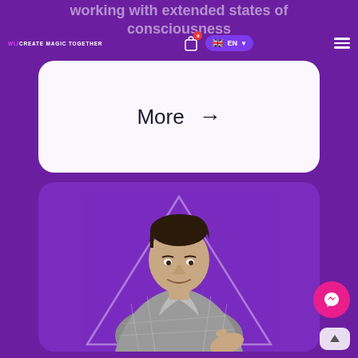working with extended states of consciousness
[Figure (screenshot): Website navigation bar with WijCreate Magic Together logo, shopping cart with badge '0', UK flag language selector showing EN, and hamburger menu icon]
More →
[Figure (photo): Man in grey checkered blazer and turtleneck smiling, positioned in front of a white triangle outline on a purple background, with Messenger chat button and scroll-up button in lower right corner]